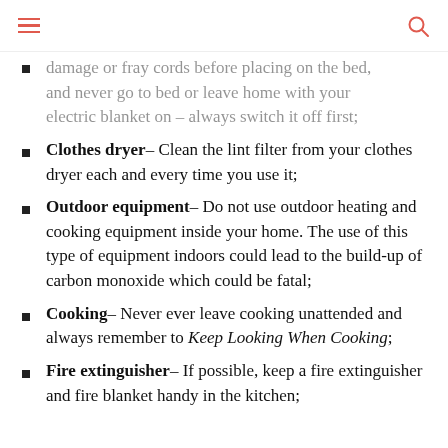damage or fray cords before placing on the bed, and never go to bed or leave home with your electric blanket on – always switch it off first;
Clothes dryer– Clean the lint filter from your clothes dryer each and every time you use it;
Outdoor equipment– Do not use outdoor heating and cooking equipment inside your home. The use of this type of equipment indoors could lead to the build-up of carbon monoxide which could be fatal;
Cooking– Never ever leave cooking unattended and always remember to Keep Looking When Cooking;
Fire extinguisher– If possible, keep a fire extinguisher and fire blanket handy in the kitchen;